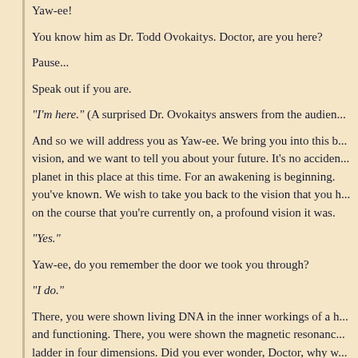Yaw-ee!
You know him as Dr. Todd Ovokaitys. Doctor, are you here?
Pause...
Speak out if you are.
"I'm here." (A surprised Dr. Ovokaitys answers from the audien...
And so we will address you as Yaw-ee. We bring you into this b... vision, and we want to tell you about your future. It's no acciden... planet in this place at this time. For an awakening is beginning. you've known. We wish to take you back to the vision that you h... on the course that you're currently on, a profound vision it was.
"Yes."
Yaw-ee, do you remember the door we took you through?
"I do."
There, you were shown living DNA in the inner workings of a h... and functioning. There, you were shown the magnetic resonanc... ladder in four dimensions. Did you ever wonder, Doctor, why w...